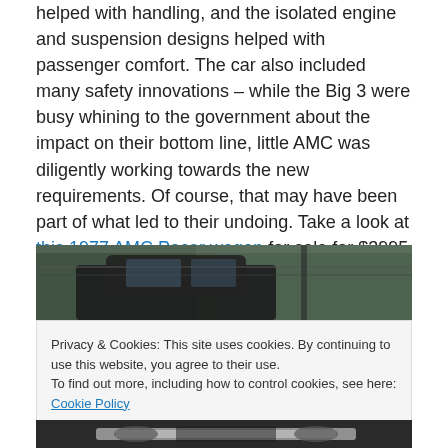helped with handling, and the isolated engine and suspension designs helped with passenger comfort. The car also included many safety innovations – while the Big 3 were busy whining to the government about the impact on their bottom line, little AMC was diligently working towards the new requirements. Of course, that may have been part of what led to their undoing. Take a look at this 1977 AMC Pacer wagon for sale for $3995 in Portland, OR.
[Figure (photo): Top portion of a photo showing a dark-colored AMC Pacer wagon parked outdoors with trees/foliage in the background]
Privacy & Cookies: This site uses cookies. By continuing to use this website, you agree to their use. To find out more, including how to control cookies, see here: Cookie Policy. Close and accept.
[Figure (photo): Bottom portion of a photo showing the front of an AMC Pacer with chrome bumper details]